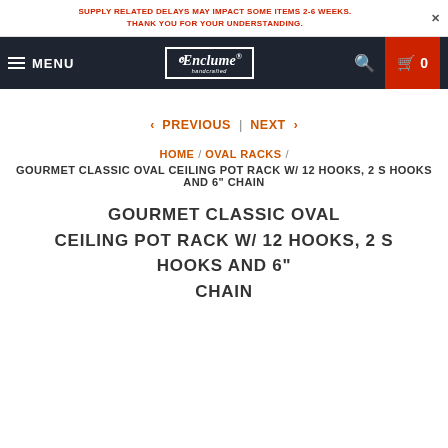SUPPLY RELATED DELAYS MAY IMPACT SOME ITEMS 2-6 WEEKS. THANK YOU FOR YOUR UNDERSTANDING.
MENU | Enclume handcrafted | SEARCH | CART 0
< PREVIOUS | NEXT >
HOME / OVAL RACKS / GOURMET CLASSIC OVAL CEILING POT RACK W/ 12 HOOKS, 2 S HOOKS AND 6" CHAIN
GOURMET CLASSIC OVAL CEILING POT RACK W/ 12 HOOKS, 2 S HOOKS AND 6" CHAIN